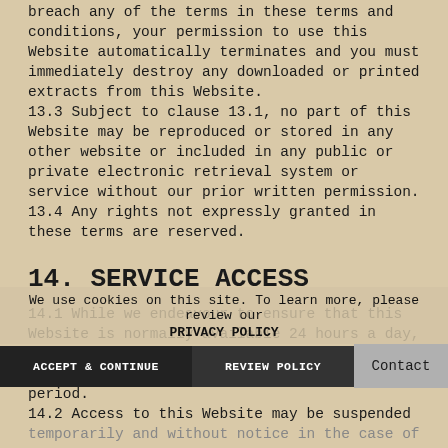breach any of the terms in these terms and conditions, your permission to use this Website automatically terminates and you must immediately destroy any downloaded or printed extracts from this Website. 13.3 Subject to clause 13.1, no part of this Website may be reproduced or stored in any other website or included in any public or private electronic retrieval system or service without our prior written permission. 13.4 Any rights not expressly granted in these terms are reserved.
14. SERVICE ACCESS
14.1 While we endeavour to ensure that this Website is normally available 24 hours a day, we will not be liable if for any reason this Website is unavailable at any time or for any period. 14.2 Access to this Website may be suspended temporarily and without notice in the case of system failure, maintenance or repair or for reasons beyond our control.
We use cookies on this site. To learn more, please review our PRIVACY POLICY
ACCEPT & CONTINUE
REVIEW POLICY
Contact